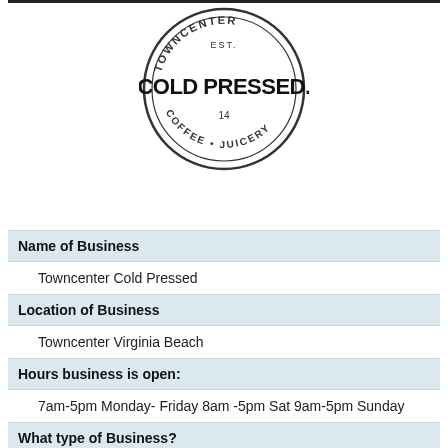[Figure (logo): Circular stamp logo reading TOWNCENTER COLD PRESSED EST. 14 COFFEE JUICERY with bold text COLD PRESSED. in center]
Name of Business
Towncenter Cold Pressed
Location of Business
Towncenter Virginia Beach
Hours business is open:
7am-5pm Monday- Friday 8am -5pm Sat 9am-5pm Sunday
What type of Business?
Cafe /Coffeeshop/Juicebar
Phone Number: